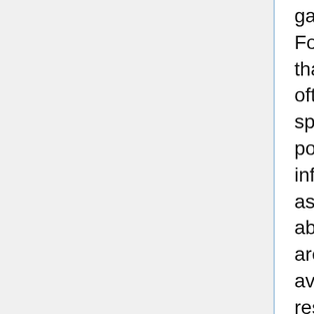game now become viable. For instance, one ally card that tends not to be used too often in normal play has a special ability, causing one point of damage to be inflicted on any opposing ally as it enters play. While the ability seems strong, there are other, better cards available at the same resource cost. This same card, however, becomes invaluable in a deck being used to play against Onyxia - as one of the dragon's abilities is to "summon" lots of allies with just one health point. While these summoned allies aren't strong, their sheer numbers can pose serious problems for opposing players. The ally card, however, now comes into its own, effectively preventing the Onyxia player from using its summoned allies without first dealing with the ally.